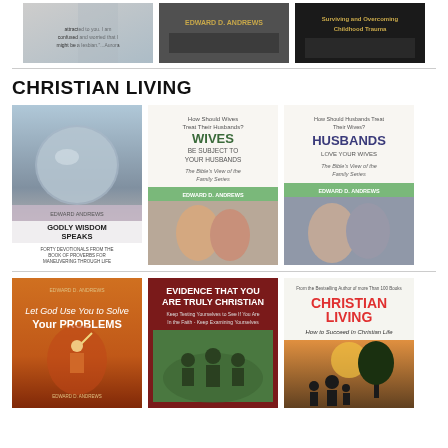[Figure (illustration): Three book covers in a row at the top of the page]
CHRISTIAN LIVING
[Figure (illustration): Three book covers: Godly Wisdom Speaks, Wives Be Subject to Your Husbands, Husbands Love Your Wives]
[Figure (illustration): Three book covers: Let God Use You to Solve Your Problems, Evidence That You Are Truly Christian, Christian Living How to Succeed in Christian Life]